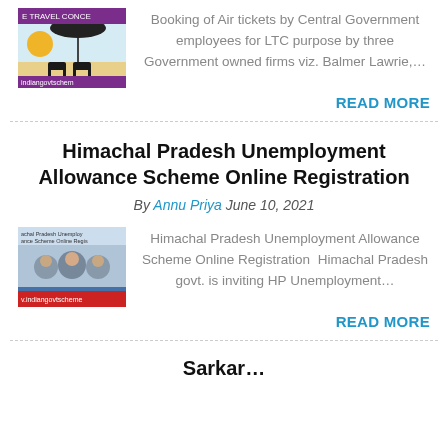[Figure (screenshot): Travel concession thumbnail image showing beach chairs under umbrella with yellow sun]
Booking of Air tickets by Central Government employees for LTC purpose by three Government owned firms viz. Balmer Lawrie,…
READ MORE
Himachal Pradesh Unemployment Allowance Scheme Online Registration
By Annu Priya June 10, 2021
[Figure (screenshot): Himachal Pradesh Unemployment Scheme Online Registration thumbnail with people images]
Himachal Pradesh Unemployment Allowance Scheme Online Registration  Himachal Pradesh govt. is inviting HP Unemployment…
READ MORE
Sarkar…